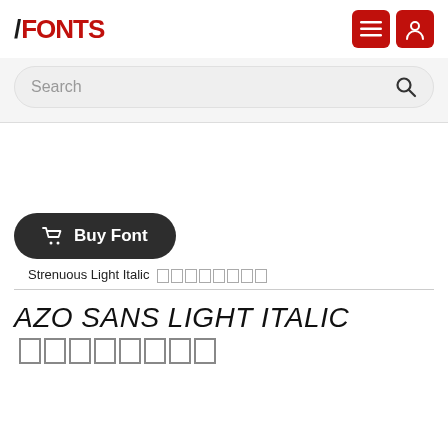FFONTS
Search
[Figure (screenshot): Empty white content area where font preview would appear]
Buy Font
Strenuous Light Italic
AZO SANS LIGHT ITALIC